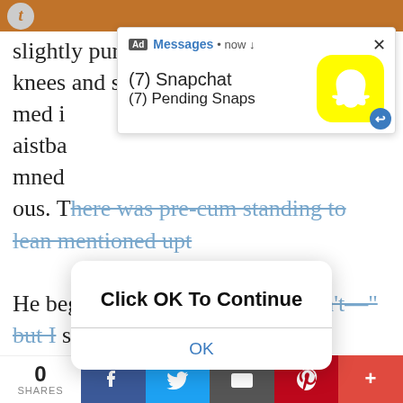slightly pursed. I put my hands on his knees and slo
med i
aistba mned ous. There was pre-cum standing to lean mentioned upt
[Figure (screenshot): Ad notification popup showing Snapchat message: '(7) Snapchat' and '(7) Pending Snaps' with yellow Snapchat logo icon and blue return arrow badge. Header shows: Ad Messages • now ↓]
He began to speak, "Y/N, you don't—" but I stopped that with a flick of my tongue against that slit and he tasted salty, slightly bitter, and a touch of tangy sweetness. I then slid the width of my tongue flat fla down the underside of his cock. He laid down when I began to go back up and swirled around the tip, gently suckling the head for a few moments. He moaned my name and his hands went straight into my hair almost by instinct. I slid his hard thick cock in my mouth, the weight against my tongue and I moaned a
[Figure (screenshot): System dialog popup with text 'Click OK To Continue' and an OK button]
0 SHARES | Facebook | Twitter | Email | Pinterest | More